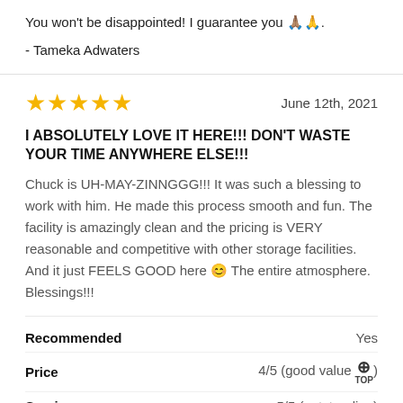You won't be disappointed! I guarantee you 🙏🏽🙏.
- Tameka Adwaters
★★★★★   June 12th, 2021
I ABSOLUTELY LOVE IT HERE!!! DON'T WASTE YOUR TIME ANYWHERE ELSE!!!
Chuck is UH-MAY-ZINNGGG!!! It was such a blessing to work with him. He made this process smooth and fun. The facility is amazingly clean and the pricing is VERY reasonable and competitive with other storage facilities. And it just FEELS GOOD here 😊 The entire atmosphere. Blessings!!!
Recommended   Yes
Price   4/5 (good value)
Service   5/5 (outstanding)